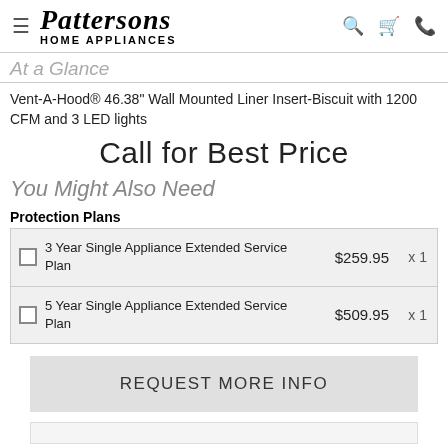Pattersons HOME APPLIANCES
At a Glance
Vent-A-Hood® 46.38" Wall Mounted Liner Insert-Biscuit with 1200 CFM and 3 LED lights
Call for Best Price
You Might Also Need
Protection Plans
|  | Plan | Price | Qty |
| --- | --- | --- | --- |
| ☐ | 3 Year Single Appliance Extended Service Plan | $259.95 | x 1 |
| ☐ | 5 Year Single Appliance Extended Service Plan | $509.95 | x 1 |
REQUEST MORE INFO